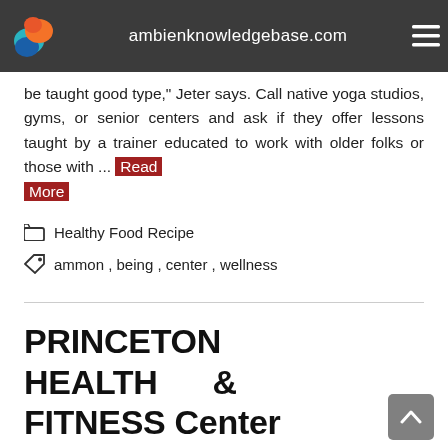ambienknowledgebase.com
be taught good type," Jeter says. Call native yoga studios, gyms, or senior centers and ask if they offer lessons taught by a trainer educated to work with older folks or those with ... Read More
Healthy Food Recipe
ammon, being, center, wellness
PRINCETON HEALTH & FITNESS Center
Posted on 29/09/2020 by Author